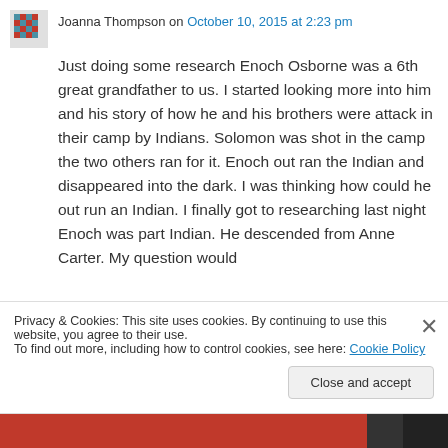Joanna Thompson on October 10, 2015 at 2:23 pm
Just doing some research Enoch Osborne was a 6th great grandfather to us. I started looking more into him and his story of how he and his brothers were attack in their camp by Indians. Solomon was shot in the camp the two others ran for it. Enoch out ran the Indian and disappeared into the dark. I was thinking how could he out run an Indian. I finally got to researching last night Enoch was part Indian. He descended from Anne Carter. My question would
Privacy & Cookies: This site uses cookies. By continuing to use this website, you agree to their use.
To find out more, including how to control cookies, see here: Cookie Policy
Close and accept